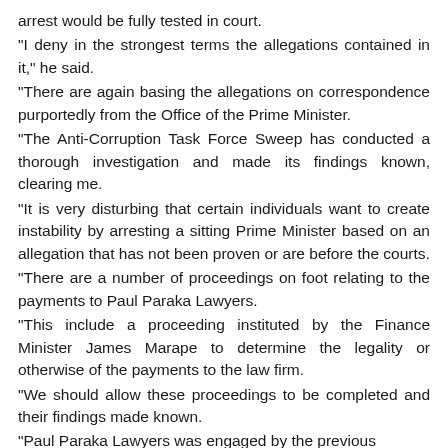arrest would be fully tested in court. "I deny in the strongest terms the allegations contained in it," he said. "There are again basing the allegations on correspondence purportedly from the Office of the Prime Minister. "The Anti-Corruption Task Force Sweep has conducted a thorough investigation and made its findings known, clearing me. "It is very disturbing that certain individuals want to create instability by arresting a sitting Prime Minister based on an allegation that has not been proven or are before the courts. "There are a number of proceedings on foot relating to the payments to Paul Paraka Lawyers. "This include a proceeding instituted by the Finance Minister James Marape to determine the legality or otherwise of the payments to the law firm. "We should allow these proceedings to be completed and their findings made known. "Paul Paraka Lawyers was engaged by the previous